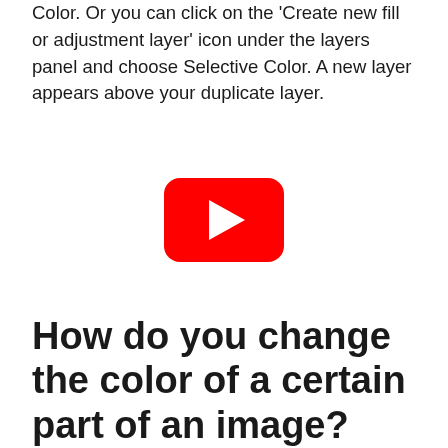Color. Or you can click on the 'Create new fill or adjustment layer' icon under the layers panel and choose Selective Color. A new layer appears above your duplicate layer.
[Figure (other): YouTube play button icon — red rounded rectangle with white play triangle]
How do you change the color of a certain part of an image?